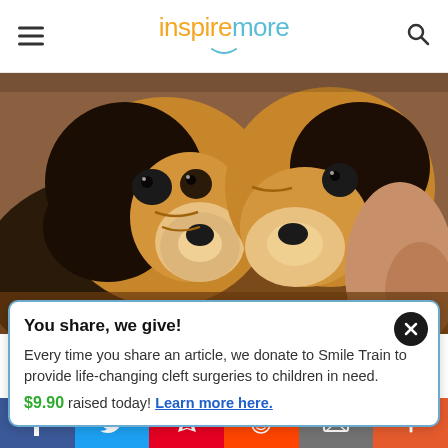inspiremore
[Figure (photo): Two bulldog puppies being held by a person, close-up shot with warm brown tones]
You share, we give!
Every time you share an article, we donate to Smile Train to provide life-changing cleft surgeries to children in need.
$9.90 raised today! Learn more here.